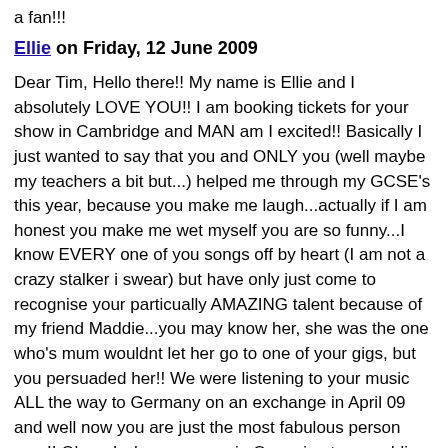a fan!!!
Ellie on Friday, 12 June 2009
Dear Tim, Hello there!! My name is Ellie and I absolutely LOVE YOU!! I am booking tickets for your show in Cambridge and MAN am I excited!! Basically I just wanted to say that you and ONLY you (well maybe my teachers a bit but...) helped me through my GCSE's this year, because you make me laugh...actually if I am honest you make me wet myself you are so funny...I know EVERY one of you songs off by heart (I am not a crazy stalker i swear) but have only just come to recognise your particually AMAZING talent because of my friend Maddie...you may know her, she was the one who's mum wouldnt let her go to one of your gigs, but you persuaded her!! We were listening to your music ALL the way to Germany on an exchange in April 09 and well now you are just the most fabulous person ever!! Oh and when we were in Oz, going to a wedding, I saw one of your posters advertising you, and I just knew that would relate to something fab happen in the future...you know when you get that instinct that something is going to happen about this thing soon... well I do =P xxx Don't ever stop writing songs and performing because everybody just loves you too much!! And I just wanted to comment on "White wine in the Sun" because is has made me and my family cry everytime we have heard it. It's a beautiful song